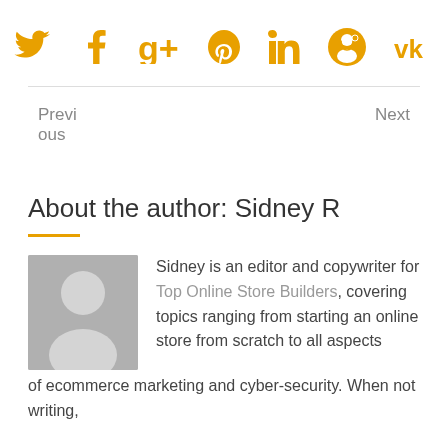[Figure (infographic): Row of social media icons in orange/amber color: Twitter bird, Facebook f, Google+ g+, Pinterest p, LinkedIn in, Reddit alien face, VK vk]
Previous
Next
About the author: Sidney R
[Figure (photo): Grey placeholder avatar silhouette of a person]
Sidney is an editor and copywriter for Top Online Store Builders, covering topics ranging from starting an online store from scratch to all aspects of ecommerce marketing and cyber-security. When not writing,